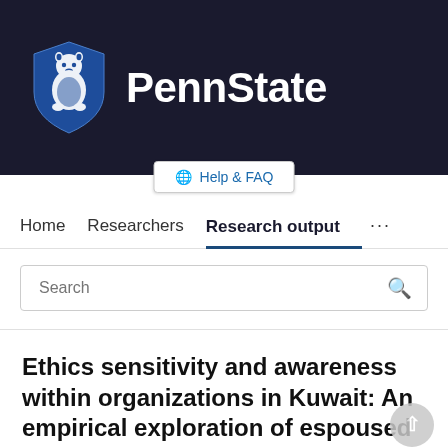[Figure (logo): Penn State University logo: blue shield with lion mascot on left, bold white 'PennState' text on right, on dark navy background]
Help & FAQ
Home   Researchers   Research output   ...
Search
Ethics sensitivity and awareness within organizations in Kuwait: An empirical exploration of espoused theory and theory-in-use